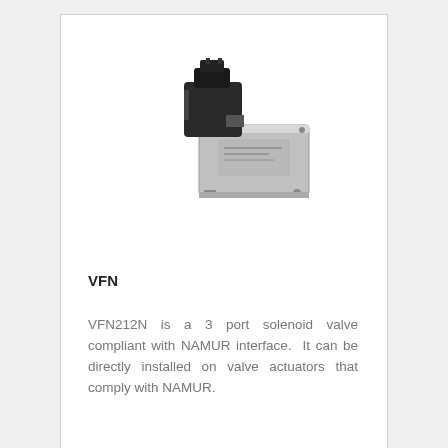[Figure (photo): Photo of VFN212N solenoid valve with NAMUR interface, showing a black coil/connector on top and a silver/grey valve body]
VFN
VFN212N is a 3 port solenoid valve compliant with NAMUR interface. It can be directly installed on valve actuators that comply with NAMUR.
[Figure (other): Red circular plus/add button icon]